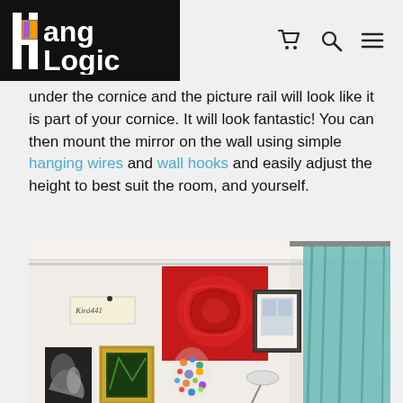HangLogic
under the cornice and the picture rail will look like it is part of your cornice. It will look fantastic! You can then mount the mirror on the wall using simple hanging wires and wall hooks and easily adjust the height to best suit the room, and yourself.
[Figure (photo): Room interior showing a gallery wall with multiple artworks hung on a white wall, including a large red abstract painting, a framed print, a small handmade sign, and other artwork. Teal curtains are visible on the right side.]